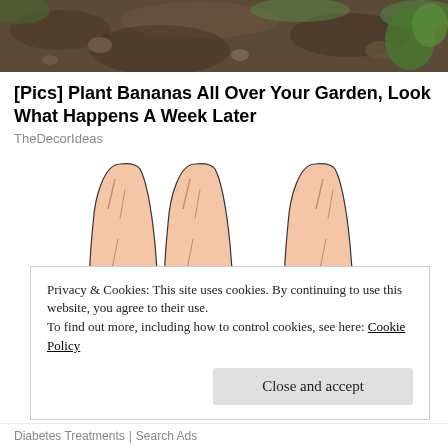[Figure (photo): Top portion of a garden/soil photo cropped at top of page]
[Pics] Plant Bananas All Over Your Garden, Look What Happens A Week Later
TheDecorIdeas
[Figure (illustration): Three illustrated human legs showing pain points highlighted in red at different locations on the knee/calf area]
Privacy & Cookies: This site uses cookies. By continuing to use this website, you agree to their use.
To find out more, including how to control cookies, see here: Cookie Policy
Close and accept
Diabetes Treatments | Search Ads